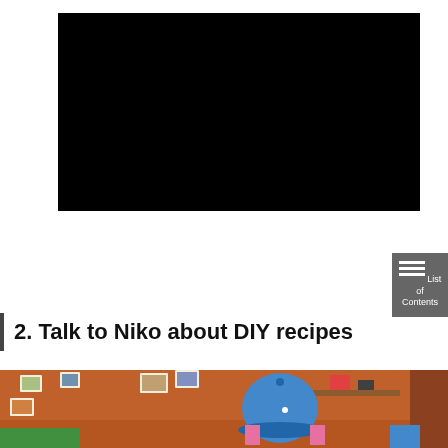[Figure (screenshot): Black video player rectangle, likely an embedded YouTube or web video]
[Figure (other): Gray 'List of Contents' button with hamburger menu icon in top-right area]
2. Talk to Niko about DIY recipes
[Figure (screenshot): Animal Crossing game screenshot showing a room with orange walls, photos/posters on the wall, a shelf with items, and a character wearing a blue cap]